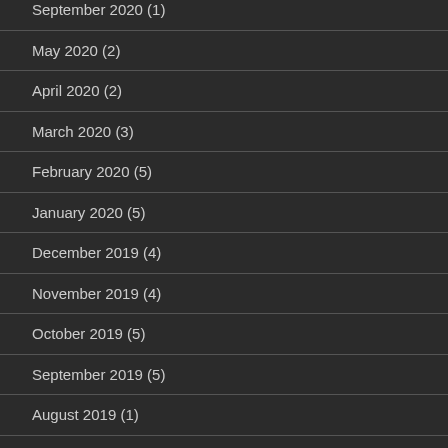September 2020 (1)
May 2020 (2)
April 2020 (2)
March 2020 (3)
February 2020 (5)
January 2020 (5)
December 2019 (4)
November 2019 (4)
October 2019 (5)
September 2019 (5)
August 2019 (1)